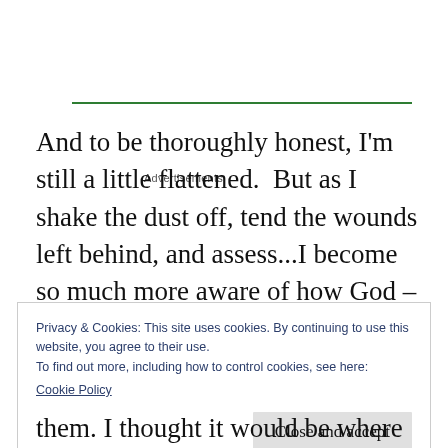Advertisements
And to be thoroughly honest, I'm still a little flattened.  But as I shake the dust off, tend the wounds left behind, and assess...I become so much more aware of how God – in the way only God does – has orchestrated every step to bring me to this very moment.
Privacy & Cookies: This site uses cookies. By continuing to use this website, you agree to their use.
To find out more, including how to control cookies, see here:
Cookie Policy
Close and accept
them. I thought it would be where God is